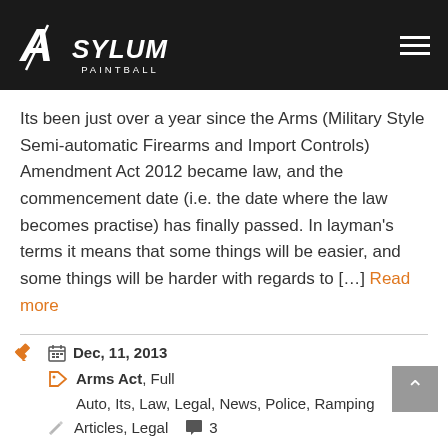Asylum Paintball
Its been just over a year since the Arms (Military Style Semi-automatic Firearms and Import Controls) Amendment Act 2012 became law, and the commencement date (i.e. the date where the law becomes practise) has finally passed. In layman's terms it means that some things will be easier, and some things will be harder with regards to [...] Read more
Dec, 11, 2013
Arms Act, Full
Auto, Its, Law, Legal, News, Police, Ramping
Articles, Legal   3
Like 47   Tweet